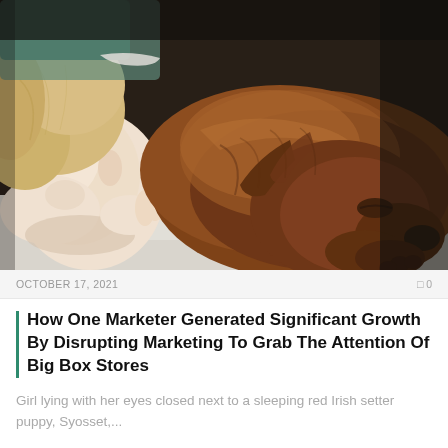[Figure (photo): A young child with blonde hair lying with eyes closed next to a sleeping red Irish setter puppy on a white pillow. The image is a close-up warm-toned photograph.]
OCTOBER 17, 2021   0
How One Marketer Generated Significant Growth By Disrupting Marketing To Grab The Attention Of Big Box Stores
Girl lying with her eyes closed next to a sleeping red Irish setter puppy, Syosset,...